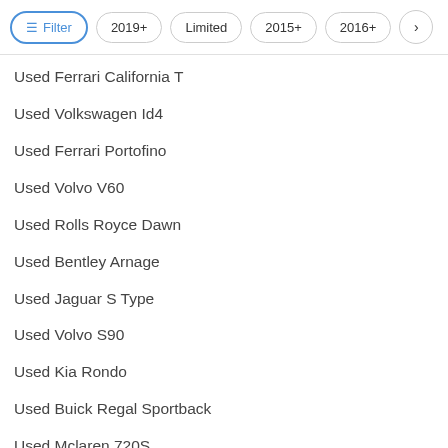Filter | 2019+ | Limited | 2015+ | 2016+ | >
Used Ferrari California T
Used Volkswagen Id4
Used Ferrari Portofino
Used Volvo V60
Used Rolls Royce Dawn
Used Bentley Arnage
Used Jaguar S Type
Used Volvo S90
Used Kia Rondo
Used Buick Regal Sportback
Used Mclaren 720S
Used Ford Mustang
Used Ferrari 812 Superfast
Shop used models by city
Used Volkswagen Gti in Allentown, PA
Used Hummer H2 Sut in Long Island City, NY